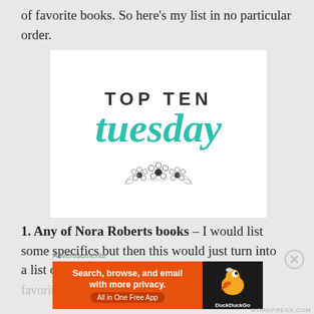of favorite books. So here's my list in no particular order.
[Figure (logo): Top Ten Tuesday logo: bold sans-serif 'TOP TEN' above large teal cursive 'tuesday', with a small floral illustration below]
1. Any of Nora Roberts books – I would list some specifics but then this would just turn into a list of my favorite books by Nora
Advertisements
[Figure (screenshot): DuckDuckGo advertisement banner: 'Search, browse, and email with more privacy. All in One Free App' on orange background with DuckDuckGo duck logo on dark right panel]